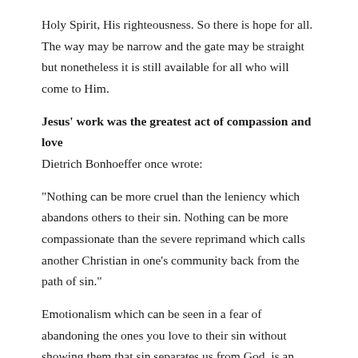Holy Spirit, His righteousness. So there is hope for all. The way may be narrow and the gate may be straight but nonetheless it is still available for all who will come to Him.
Jesus' work was the greatest act of compassion and love
Dietrich Bonhoeffer once wrote:
"Nothing can be more cruel than the leniency which abandons others to their sin. Nothing can be more compassionate than the severe reprimand which calls another Christian in one's community back from the path of sin."
Emotionalism which can be seen in a fear of abandoning the ones you love to their sin without showing them that sin separates us from God, is an aberrant and deceptive type